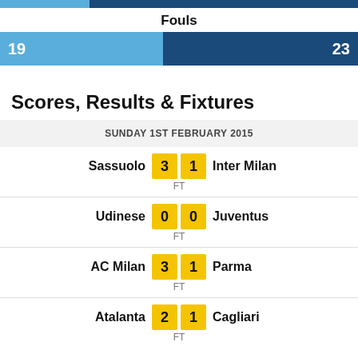[Figure (bar-chart): Fouls]
Scores, Results & Fixtures
SUNDAY 1ST FEBRUARY 2015
| Home | Score | Away | Status |
| --- | --- | --- | --- |
| Sassuolo | 3 - 1 | Inter Milan | FT |
| Udinese | 0 - 0 | Juventus | FT |
| AC Milan | 3 - 1 | Parma | FT |
| Atalanta | 2 - 1 | Cagliari | FT |